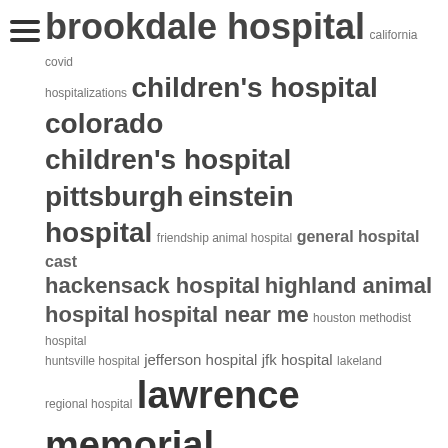[Figure (infographic): A word cloud of hospital-related search terms in varying font sizes, indicating relative search frequency. Larger text indicates more frequent searches. Terms include brookdale hospital, california covid, hospitalizations, children's hospital colorado, children's hospital pittsburgh, einstein hospital, friendship animal hospital, general hospital cast, hackensack hospital, highland animal hospital, hospital near me, houston methodist hospital, huntsville hospital, jefferson hospital, jfk hospital, lakeland regional hospital, lawrence memorial hospital, lenox hill hospital, lourdes hospital, lutheran general hospital, macneal hospital, mary washington hospital, methodist hospital, montefiore hospital, mount sinai hospital, nationwide children's hospital, northern westchester hospital, northside hospital atlanta, nyu langone hospital, pa hospital, rhode island hospital, riverside community hospital, saratoga hospital, sunrise hospital. A hamburger menu icon appears top left.]